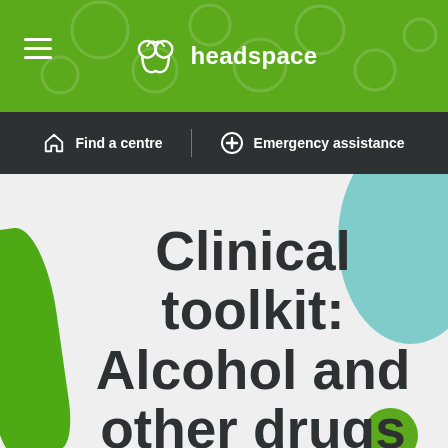headspace
Find a centre    Emergency assistance
Clinical toolkit: Alcohol and other drugs